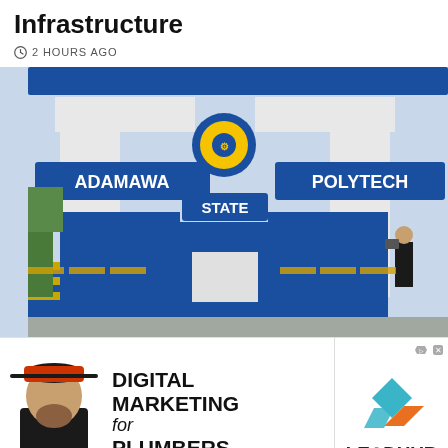Infrastructure
2 HOURS AGO
[Figure (photo): Gateway entrance of Adamawa State Polytechnic with blue and white arch structure, showing 'ADAMAWA', 'STATE', and 'POLYTECH' signage, a gear/cog emblem at top, blue metal gates, and a person standing to the right taking a photo.]
[Figure (other): Advertisement banner: Left side shows a man in a cap and black jacket with text 'DIGITAL MARKETING for PLUMBERS'. Right side shows the LeadHub logo with teal and orange geometric shapes.]